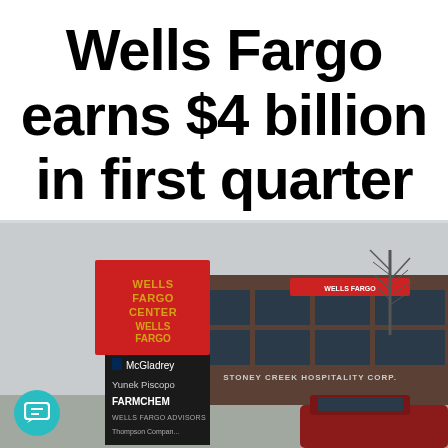Wells Fargo earns $4 billion in first quarter
[Figure (photo): Exterior photo of Wells Fargo Center sign and building. A tall red and black monument sign reads WELLS FARGO CENTER / WELLS FARGO with tenant signs including McGladrey, Yunek Piscopo, FARMCHEM, WELLS FARGO ADVISORS, Thompson Companies. In the background is a brown multi-story office building with a Wells Fargo sign and STONEY CREEK HOSPITALITY CORP. signage visible. Bare trees and overcast sky visible. A teal chat icon appears in the lower-left corner.]